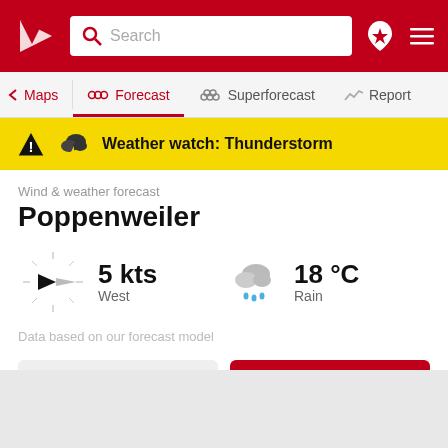[Figure (screenshot): Red app header with logo, search bar, location pin icon, and hamburger menu]
[Figure (screenshot): Navigation bar with Maps, Forecast (active), Superforecast, Report tabs]
[Figure (infographic): Yellow weather alert banner with warning triangle and thunderstorm icon]
Weather watch: Thunderstorm
Wind & weather forecast
Poppenweiler
5 kts West
18 °C Rain
Data based on our forecast model
View spot details
Save